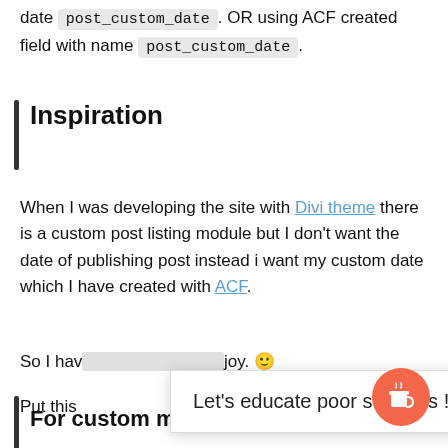date post_custom_date. OR using ACF created field with name post_custom_date.
Inspiration
When I was developing the site with Divi theme there is a custom post listing module but I don't want the date of publishing post instead i want my custom date which I have created with ACF.
So I hav[...redacted tooltip overlay...]joy. 🙂
Put this
Let's educate poor students !!!
For custom meta Without Acf